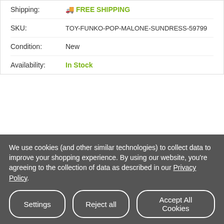Shipping: FREE SHIPPING
SKU: TOY-FUNKO-POP-MALONE-SUNDRESS-59799
Condition: New
Availability: In Stock
[Figure (logo): Funko logo in blue cursive lettering with crown]
Our Price: $16.99
Quantity: 1
We use cookies (and other similar technologies) to collect data to improve your shopping experience. By using our website, you're agreeing to the collection of data as described in our Privacy Policy.
Settings
Reject all
Accept All Cookies